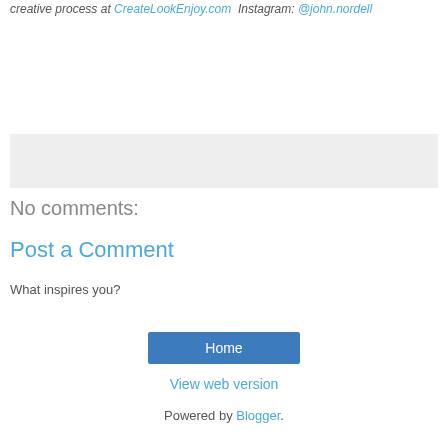creative process at CreateLookEnjoy.com  Instagram: @john.nordell
[Figure (other): Gray empty box/placeholder area]
No comments:
Post a Comment
What inspires you?
Home
View web version
Powered by Blogger.